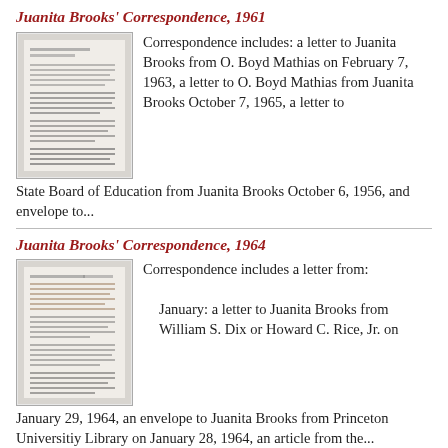Juanita Brooks' Correspondence, 1961
[Figure (photo): Thumbnail image of a correspondence letter page, showing typed text on aged paper]
Correspondence includes: a letter to Juanita Brooks from O. Boyd Mathias on February 7, 1963, a letter to O. Boyd Mathias from Juanita Brooks October 7, 1965, a letter to State Board of Education from Juanita Brooks October 6, 1956, and envelope to...
Juanita Brooks' Correspondence, 1964
[Figure (photo): Thumbnail image of a correspondence letter page, showing typed text on aged paper]
Correspondence includes a letter from:

January: a letter to Juanita Brooks from William S. Dix or Howard C. Rice, Jr. on January 29, 1964, an envelope to Juanita Brooks from Princeton Universitiy Library on January 28, 1964, an article from the...